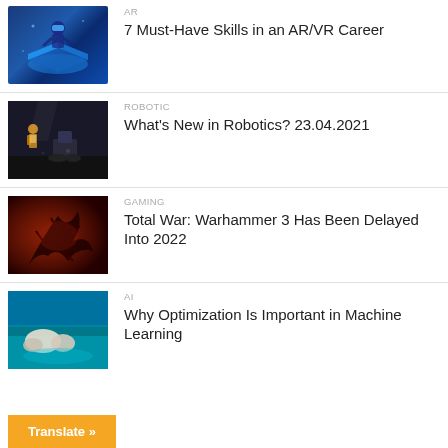[Figure (photo): AR/VR scene with person using VR headset over a glowing blue isometric surface]
AR
7 Must-Have Skills in an AR/VR Career
[Figure (photo): Robotics scene with worker in yellow vest and a robot on a dark industrial floor]
ROBOTIC
What's New in Robotics? 23.04.2021
[Figure (photo): Dark red fantasy gaming image with thorned creature — Total War Warhammer 3]
GAMING
Total War: Warhammer 3 Has Been Delayed Into 2022
[Figure (photo): Aerial photo of rocky coastline with turquoise water — AI/Machine Learning article]
AI
Why Optimization Is Important in Machine Learning
Translate »